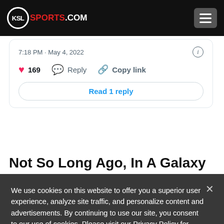KSL SPORTS.COM
7:18 PM · May 4, 2022
❤ 169   💬 Reply   🔗 Copy link
Read 1 reply
Not So Long Ago, In A Galaxy
We use cookies on this website to offer you a superior user experience, analyze site traffic, and personalize content and advertisements. By continuing to use our site, you consent to our use of cookies. Please visit our Privacy Policy for more information.
Accept Cookies